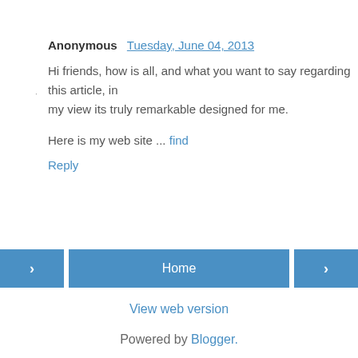Anonymous  Tuesday, June 04, 2013
Hi friends, how is all, and what you want to say regarding this article, in my view its truly remarkable designed for me.
Here is my web site ... find
Reply
Home
View web version
Powered by Blogger.